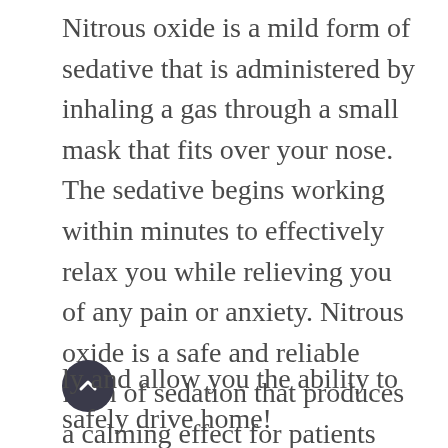Nitrous oxide is a mild form of sedative that is administered by inhaling a gas through a small mask that fits over your nose. The sedative begins working within minutes to effectively relax you while relieving you of any pain or anxiety. Nitrous oxide is a safe and reliable form of sedation that produces a calming effect for patients while keeping them awake and aware of their surroundings. During your appointment, your care and comfort will be monitored the entire time by one of our friendly team members to ensure you're content with your sedation throughout the appointment. At the end of your visit, the nitrous oxide will wear off rather quickly and allow you the ability to safely drive home!